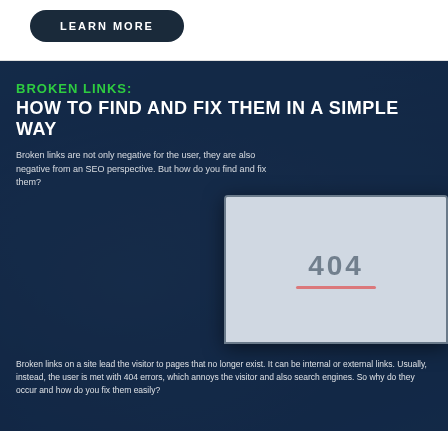[Figure (other): Dark navy blue button with white uppercase text 'LEARN MORE' and rounded corners]
[Figure (infographic): Dark blue infographic section with title 'BROKEN LINKS: HOW TO FIND AND FIX THEM IN A SIMPLE WAY', subtitle text, laptop screen showing 404 error, and body paragraph text about broken links]
BROKEN LINKS: HOW TO FIND AND FIX THEM IN A SIMPLE WAY
Broken links are not only negative for the user, they are also negative from an SEO perspective. But how do you find and fix them?
Broken links on a site lead the visitor to pages that no longer exist. It can be internal or external links. Usually, instead, the user is met with 404 errors, which annoys the visitor and also search engines. So why do they occur and how do you fix them easily?